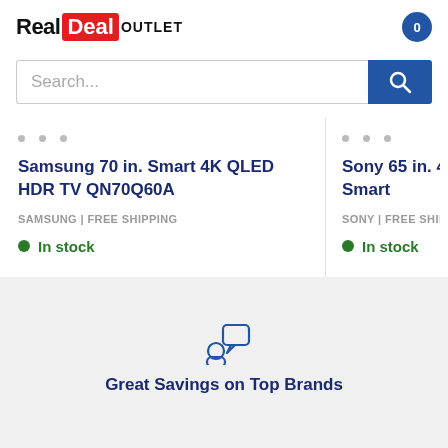Real Deal OUTLET
Search...
Samsung 70 in. Smart 4K QLED HDR TV QN70Q60A
SAMSUNG | FREE SHIPPING
In stock
Sony 65 in. 4K HDR Smart
SONY | FREE SHIPPING
In stock
[Figure (illustration): Person with speech/chat bubble icon, blue outline style]
Great Savings on Top Brands